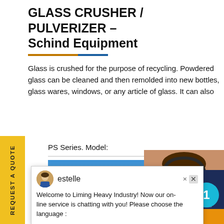GLASS CRUSHER / PULVERIZER – Schind Equipment
Glass is crushed for the purpose of recycling. Powdered glass can be cleaned and then remolded into new bottles, glass wares, windows, or any article of glass. It can also
PS Series. Model:
[Figure (photo): Blue sky with clouds, bottom portion of page]
[Figure (photo): Woman with headset smiling, customer service representative]
[Figure (infographic): Dark navy panel with text 'Have any requests, click here.' and house/arrow icon, plus orange Quotation button]
estelle
Welcome to Liming Heavy Industry! Now our on-line service is chatting with you! Please choose the language :
REQUEST A QUOTE